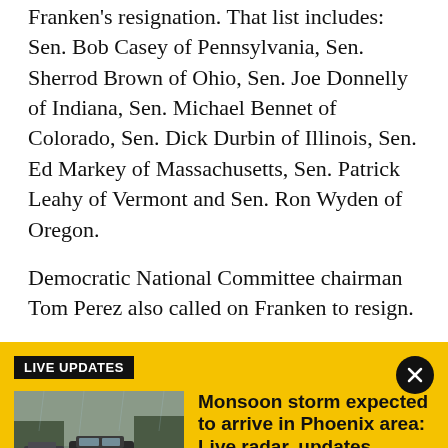Franken's resignation. That list includes: Sen. Bob Casey of Pennsylvania, Sen. Sherrod Brown of Ohio, Sen. Joe Donnelly of Indiana, Sen. Michael Bennet of Colorado, Sen. Dick Durbin of Illinois, Sen. Ed Markey of Massachusetts, Sen. Patrick Leahy of Vermont and Sen. Ron Wyden of Oregon.
Democratic National Committee chairman Tom Perez also called on Franken to resign.
LIVE UPDATES
[Figure (photo): Cars driving on a rain-soaked road during a monsoon storm, water visible on the road surface]
Monsoon storm expected to arrive in Phoenix area: Live radar, updates
The Phoenix area is expecting another round of monsoon storms as most of the state is under a flood watch through Saturday night. We have the latest on this round of wet weather.